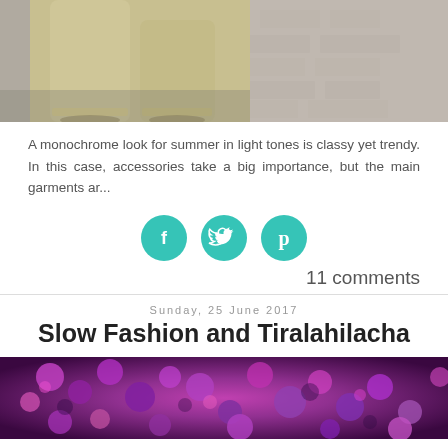[Figure (photo): Cropped photo showing lower body in light beige/khaki trousers walking on cobblestone pavement, with a stone wall in background]
A monochrome look for summer in light tones is classy yet trendy. In this case, accessories take a big importance, but the main garments ar...
[Figure (infographic): Three teal/turquoise circular social share buttons: Facebook (f), Twitter (bird), Pinterest (p)]
11 comments
Sunday, 25 June 2017
Slow Fashion and Tiralahilacha
[Figure (photo): Photo of bright purple and magenta flowers (chrysanthemums or similar), densely packed]